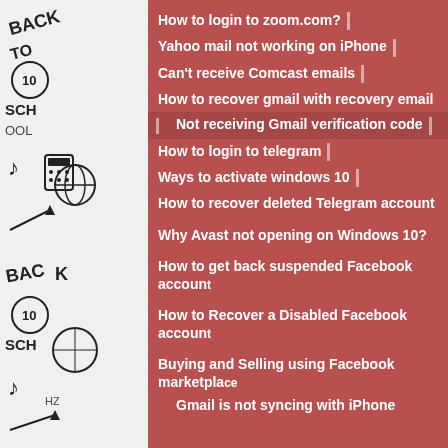How to login to zoom.com?
Yahoo mail not working on iPhone
Can't receive Comcast emails
How to recover gmail with recovery email
Not receiving Gmail verification code
How to login to telegram
Ways to activate windows 10
How to recover deleted Telegram account
Why Avast not opening on Windows 10?
How to get back suspended Facebook account
How to Recover a Disabled Facebook account
Buying and Selling using Facebook marketplace
Gmail is not syncing with iPhone